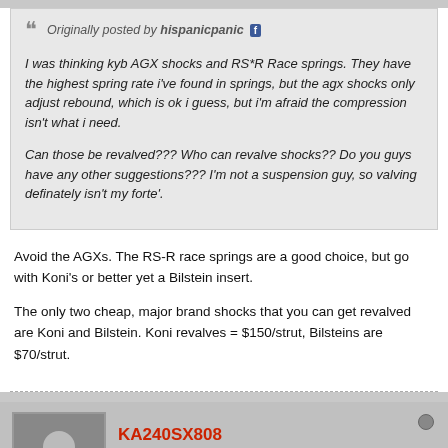Originally posted by hispanicpanic
I was thinking kyb AGX shocks and RS*R Race springs. They have the highest spring rate i've found in springs, but the agx shocks only adjust rebound, which is ok i guess, but i'm afraid the compression isn't what i need.

Can those be revalved??? Who can revalve shocks?? Do you guys have any other suggestions??? I'm not a suspension guy, so valving definately isn't my forte'.
Avoid the AGXs. The RS-R race springs are a good choice, but go with Koni's or better yet a Bilstein insert.

The only two cheap, major brand shocks that you can get revalved are Koni and Bilstein. Koni revalves = $150/strut, Bilsteins are $70/strut.
KA240SX808
"That Hawaiian Kid..."
Join Date: Jan 2009   Posts: 736
12-10-2009, 06:47 PM
#11
for Bolt-On Spring/Struts combo's I vote for either Nismo S-tune (It's pricey but it's built well) or RS*R Race Springs with Tokico D-Spec struts.